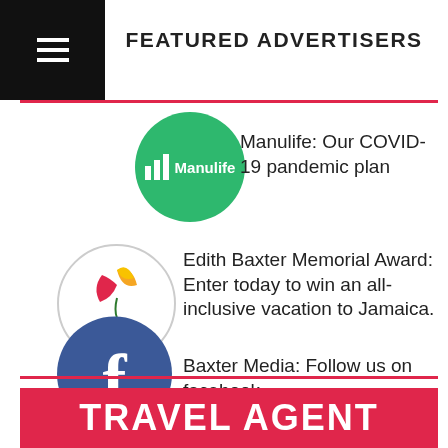FEATURED ADVERTISERS
[Figure (logo): Manulife green circle logo with bar chart icon and Manulife text]
Manulife: Our COVID-19 pandemic plan
[Figure (logo): Edith Baxter Memorial Award circular logo with bird of paradise flower illustration]
Edith Baxter Memorial Award: Enter today to win an all-inclusive vacation to Jamaica.
[Figure (logo): Facebook blue circle logo with white f]
Baxter Media: Follow us on facebook.
[Figure (other): Red banner with TRAVEL AGENT text in white bold letters]